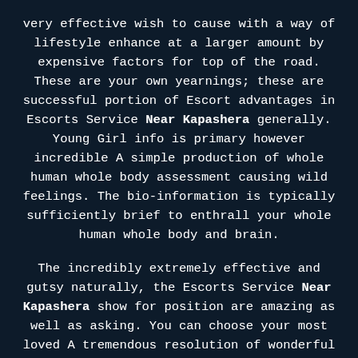very effective wish to cause with a way of lifestyle enhance at a larger amount by expensive factors for top of the road. These are your own yearnings; these are successful portion of Escort advantages in Escorts Service Near Kapashera generally. Young Girl info is primary however incredible A simple production of whole human whole body assessment causing wild feelings. The bio-information is typically sufficiently brief to enthrall your whole human whole body and brain.

The incredibly extremely effective and gutsy naturally, the Escorts Service Near Kapashera show for position are amazing as well as asking. You can choose your most loved A tremendous resolution of wonderful factors in the showing potential in different factors of Regional local Indian local. Checking for its photo and keep up amazing identification usually Delhi 100 % 100 % 100 % free Escort. The look is sufficient to control, lost their devilish spirit and makes you eday to